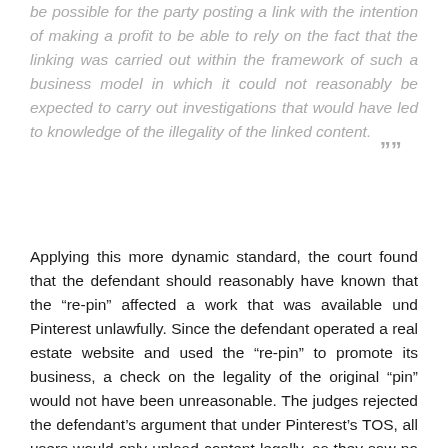be possible for the party posting a link with the intention of making a profit to be able to rely on the fact that the linking was carried out within the framework of such a business model in which it could not reasonably be expected to carry out investigations that would have led to knowledge of the illegality of the linked content. ””
Applying this more dynamic standard, the court found that the defendant should reasonably have known that the “re-pin” affected a work that was available und Pinterest unlawfully. Since the defendant operated a real estate website and used the “re-pin” to promote its business, a check on the legality of the original “pin” would not have been unreasonable. The judges rejected the defendant’s argument that under Pinterest’s TOS, all users would only upload content legally, as they saw no set of experiences that users comply with such TOS. Ultimately, the defendant failed to rebut the assumption